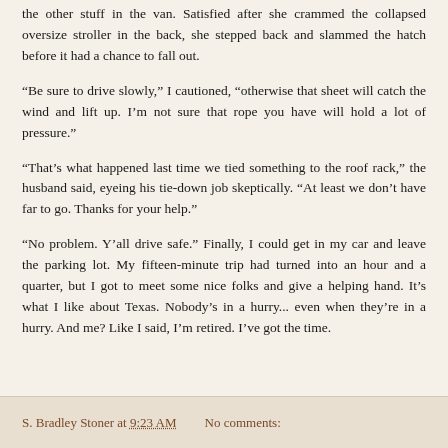the other stuff in the van. Satisfied after she crammed the collapsed oversize stroller in the back, she stepped back and slammed the hatch before it had a chance to fall out.
“Be sure to drive slowly,” I cautioned, “otherwise that sheet will catch the wind and lift up. I’m not sure that rope you have will hold a lot of pressure.”
“That’s what happened last time we tied something to the roof rack,” the husband said, eyeing his tie-down job skeptically. “At least we don’t have far to go. Thanks for your help.”
“No problem. Y’all drive safe.” Finally, I could get in my car and leave the parking lot. My fifteen-minute trip had turned into an hour and a quarter, but I got to meet some nice folks and give a helping hand. It’s what I like about Texas. Nobody’s in a hurry... even when they’re in a hurry. And me? Like I said, I’m retired. I’ve got the time.
S. Bradley Stoner at 9:23 AM    No comments: